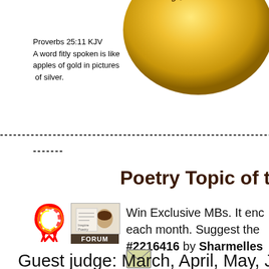[Figure (illustration): Gold circular badge/coin with cursive text 'Just Lou' visible at top]
Proverbs 25:11 KJV
A word fitly spoken is like apples of gold in pictures of silver.
------------------------------------------------------------------------
-------
Poetry Topic of the
Win Exclusive MBs. It end each month. Suggest the #2216416 by Sharmelles
[Figure (illustration): Rainbow awareness ribbon icon]
[Figure (illustration): Forum button with coffee and poetry theme, labeled FORUM]
[Figure (illustration): Envelope/mail icon]
Guest judge: March, April, May, July, A